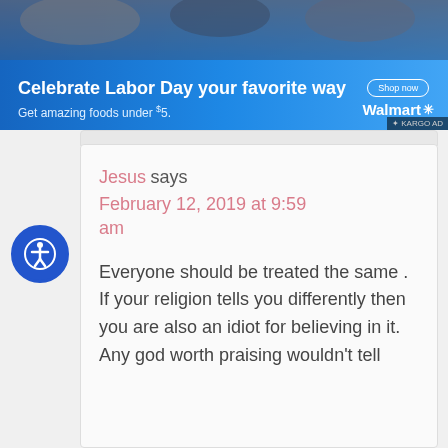[Figure (screenshot): Walmart advertisement banner: 'Celebrate Labor Day your favorite way. Get amazing foods under $5.' with Shop now button, Walmart logo, and KARGO AD tag. Background shows food images.]
Jesus says
February 12, 2019 at 9:59 am

Everyone should be treated the same . If your religion tells you differently then you are also an idiot for believing in it. Any god worth praising wouldn't tell